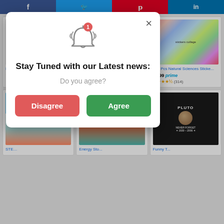[Figure (screenshot): Social media sharing bar with Facebook, Twitter, Pinterest, LinkedIn buttons]
[Figure (screenshot): Product card: partial text 'Nothing', 3.5 star rating, (91) reviews]
[Figure (screenshot): Product card: partial text 'to Ace Science in ...', price $10.34, prime, 4.5 stars, (10216) reviews]
[Figure (photo): 100 Pcs Natural Sciences sticker collection collage image]
100 Pcs Natural Sciences Sticke...
$8.99 prime
★★★★☆ (314)
[Figure (photo): STEM science kit product image with child and science supplies]
[Figure (photo): Energy book cover with sun and energy imagery]
[Figure (photo): Pluto Never Forget black t-shirt]
[Figure (infographic): Modal notification popup: bell icon with red badge showing 1, title 'Stay Tuned with our Latest news:', subtitle 'Do you agree?', Disagree button (red) and Agree button (green), X close button]